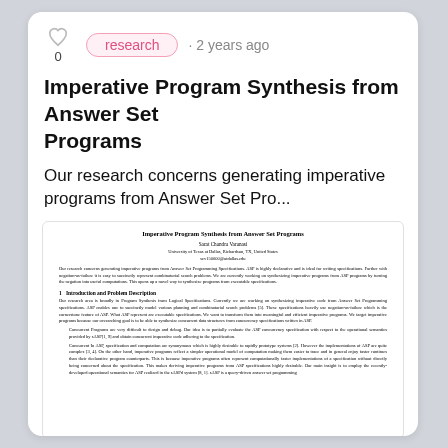research · 2 years ago
Imperative Program Synthesis from Answer Set Programs
Our research concerns generating imperative programs from Answer Set Pro...
[Figure (screenshot): Embedded paper preview showing the title 'Imperative Program Synthesis from Answer Set Programs', author 'Sarat Chandra Varanasi', affiliation 'University of Texas at Dallas, Richardson, TX, United States', abstract, and Section 1 Introduction and Problem Description with body text.]